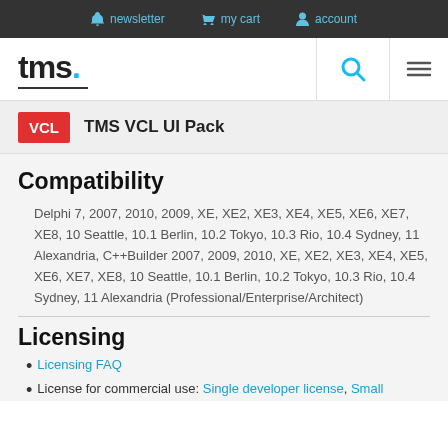newsletter  my cart  account
[Figure (logo): TMS logo with blue dot and underline, search icon, hamburger menu icon]
VCL  TMS VCL UI Pack
Compatibility
Delphi 7, 2007, 2010, 2009, XE, XE2, XE3, XE4, XE5, XE6, XE7, XE8, 10 Seattle, 10.1 Berlin, 10.2 Tokyo, 10.3 Rio, 10.4 Sydney, 11 Alexandria, C++Builder 2007, 2009, 2010, XE, XE2, XE3, XE4, XE5, XE6, XE7, XE8, 10 Seattle, 10.1 Berlin, 10.2 Tokyo, 10.3 Rio, 10.4 Sydney, 11 Alexandria (Professional/Enterprise/Architect)
Licensing
Licensing FAQ
License for commercial use: Single developer license, Small